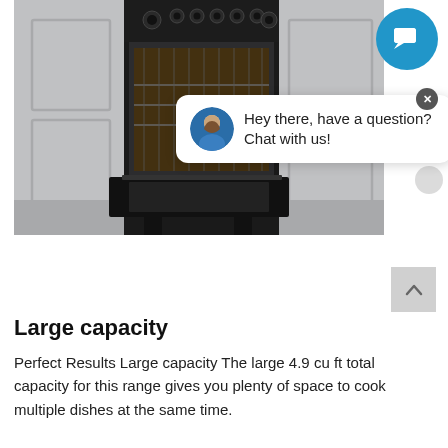[Figure (photo): A black range/oven appliance with open oven door, set in a grey kitchen cabinetry, viewed from the front. The oven door is open showing interior racks.]
Hey there, have a question? Chat with us!
Large capacity
Perfect Results Large capacity The large 4.9 cu ft total capacity for this range gives you plenty of space to cook multiple dishes at the same time.